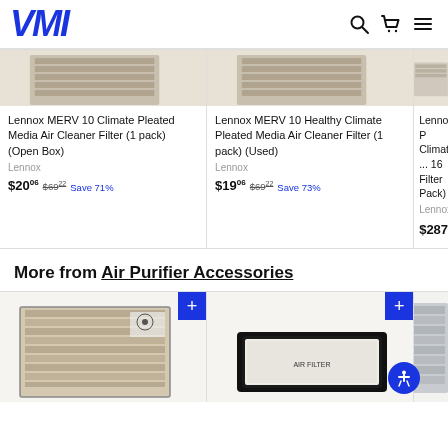[Figure (screenshot): VMI logo in bold blue italic text]
[Figure (screenshot): Header icons: search, cart, menu]
[Figure (photo): Lennox MERV 10 Climate Pleated Media Air Cleaner Filter product image]
Lennox MERV 10 Climate Pleated Media Air Cleaner Filter (1 pack) (Open Box)
Lennox
$20.06  $69.22  Save 71%
[Figure (photo): Lennox MERV 10 Healthy Climate Pleated Media Air Cleaner Filter product image]
Lennox MERV 10 Healthy Climate Pleated Media Air Cleaner Filter (1 pack) (Used)
Lennox
$19.06  $69.22  Save 73%
[Figure (photo): Lennox product partially visible]
Lennox P Climate ... 16 Filter Pack)
Lennox
$287.98
More from Air Purifier Accessories
[Figure (photo): Air filter product 1 with blue + button]
[Figure (photo): Air filter product 2 with blue + button]
[Figure (photo): Air filter product 3 partially visible]